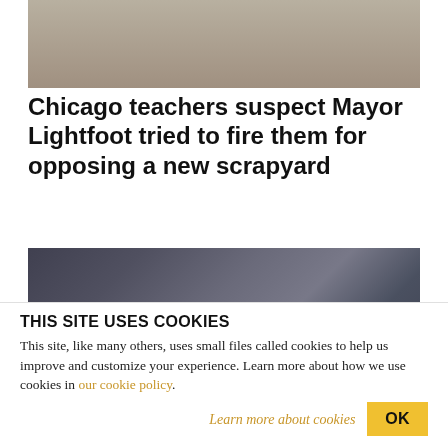[Figure (photo): Cropped photo showing the lower portion of a crowd of people, visible from approximately the waist down, standing outdoors on a street or plaza]
Chicago teachers suspect Mayor Lightfoot tried to fire them for opposing a new scrapyard
[Figure (photo): Photo of a man in a blue suit and tie (appears to be a public official) flanked by two police officers in dark uniforms, outdoors on a city street]
THIS SITE USES COOKIES
This site, like many others, uses small files called cookies to help us improve and customize your experience. Learn more about how we use cookies in our cookie policy.
Learn more about cookies
OK